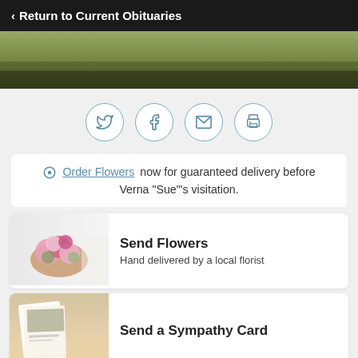‹ Return to Current Obituaries
[Figure (photo): Green grass/nature hero banner image]
[Figure (infographic): Social share buttons: Twitter, Facebook, Email, Print - four circular icons with light blue border]
Order Flowers now for guaranteed delivery before Verna "Sue"'s visitation.
[Figure (photo): Send Flowers banner with pink flower arrangement. Text: Send Flowers, Hand delivered by a local florist]
[Figure (photo): Send a Sympathy Card banner with greeting card and sunset dock background]